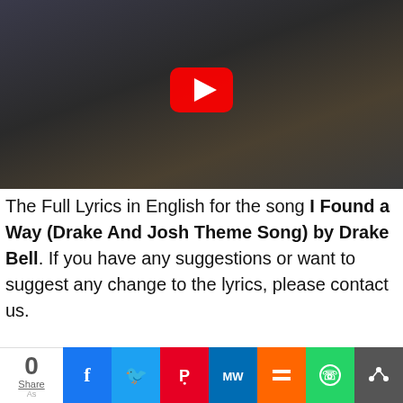[Figure (screenshot): YouTube video thumbnail showing a band performing with a guitarist in the foreground. Red YouTube play button overlay in the center. Tiled images of other band performances visible on the right side.]
The Full Lyrics in English for the song I Found a Way (Drake And Josh Theme Song) by Drake Bell. If you have any suggestions or want to suggest any change to the lyrics, please contact us.
[Figure (infographic): Social share bar at the bottom showing share count 0, and buttons for Facebook, Twitter, Pinterest, MeWe, Mix, WhatsApp, and a generic share button.]